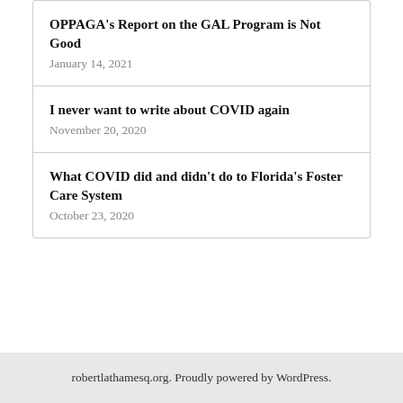OPPAGA's Report on the GAL Program is Not Good
January 14, 2021
I never want to write about COVID again
November 20, 2020
What COVID did and didn't do to Florida's Foster Care System
October 23, 2020
robertlathamesq.org. Proudly powered by WordPress.